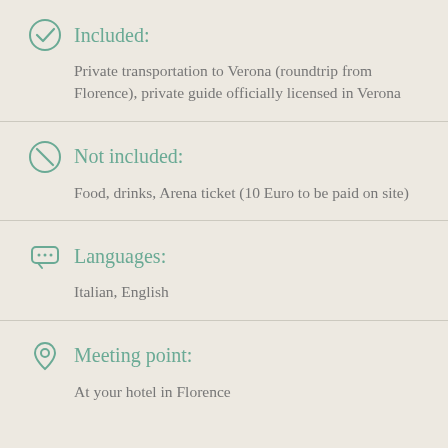Included:
Private transportation to Verona (roundtrip from Florence), private guide officially licensed in Verona
Not included:
Food, drinks, Arena ticket (10 Euro to be paid on site)
Languages:
Italian, English
Meeting point:
At your hotel in Florence